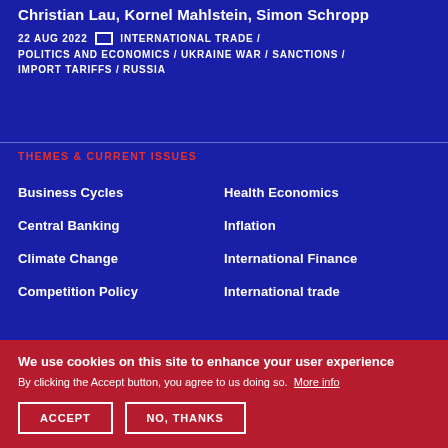Christian Lau, Kornel Mahlstein, Simon Schropp
22 AUG 2022  INTERNATIONAL TRADE / POLITICS AND ECONOMICS / UKRAINE WAR / SANCTIONS / IMPORT TARIFFS / RUSSIA
THEMES & CURRENT ISSUES
Business Cycles
Health Economics
Central Banking
Inflation
Climate Change
International Finance
Competition Policy
International trade
We use cookies on this site to enhance your user experience
By clicking the Accept button, you agree to us doing so. More info
ACCEPT
NO, THANKS